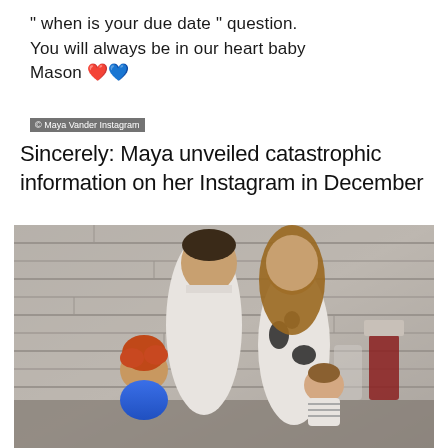" when is your due date " question. You will always be in our heart baby Mason 🖤💙
© Maya Vander Instagram
Sincerely: Maya unveiled catastrophic information on her Instagram in December
[Figure (photo): Family photo of Maya Vander with her husband and two young children, posing together in front of a stone/tile wall background. The father holds a toddler in a blue top on the left, and the mother holds a baby with a pacifier on the right.]